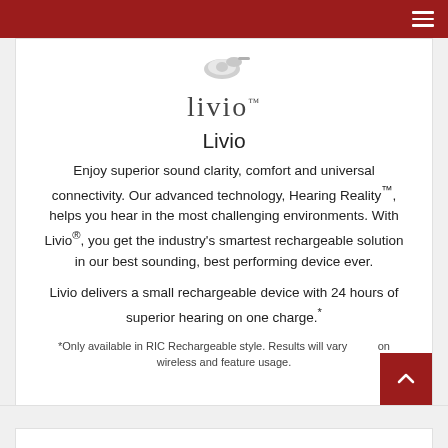[Figure (photo): Small hearing device (hearing aid) image at top of card]
livio
Livio
Enjoy superior sound clarity, comfort and universal connectivity. Our advanced technology, Hearing Reality™, helps you hear in the most challenging environments. With Livio®, you get the industry's smartest rechargeable solution in our best sounding, best performing device ever.
Livio delivers a small rechargeable device with 24 hours of superior hearing on one charge.*
*Only available in RIC Rechargeable style. Results will vary based on wireless and feature usage.